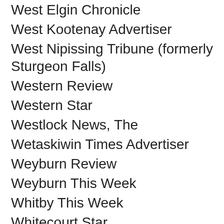West Elgin Chronicle
West Kootenay Advertiser
West Nipissing Tribune (formerly Sturgeon Falls)
Western Review
Western Star
Westlock News, The
Wetaskiwin Times Advertiser
Weyburn Review
Weyburn This Week
Whitby This Week
Whitecourt Star
Wiarton Echo
Williams Lake Tribune, The
Windsor Star, The